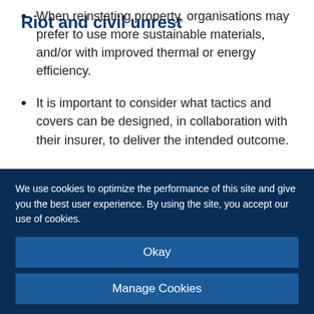When reinstating property, organisations may prefer to use more sustainable materials, and/or with improved thermal or energy efficiency.
It is important to consider what tactics and covers can be designed, in collaboration with their insurer, to deliver the intended outcome.
Riot and civil unrest
We use cookies to optimize the performance of this site and give you the best user experience. By using the site, you accept our use of cookies.
Okay
Manage Cookies